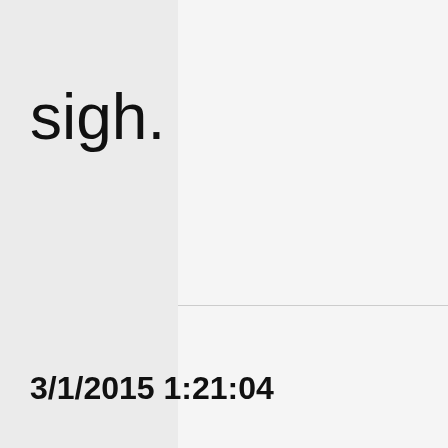sigh.
3/1/2015 1:21:04
One of my w ie artists is l liams, she h g called